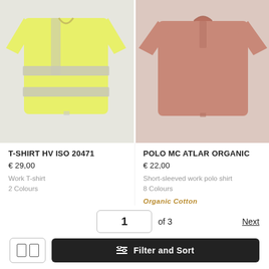[Figure (photo): Yellow high-visibility work T-shirt with reflective stripes on grey background]
[Figure (photo): Pink short-sleeved work polo shirt on grey background]
T-SHIRT HV ISO 20471
€ 29,00
Work T-shirt
2 Colours
POLO MC ATLAR ORGANIC
€ 22,00
Short-sleeved work polo shirt
8 Colours
Organic Cotton
1 of 3
Next
Filter and Sort